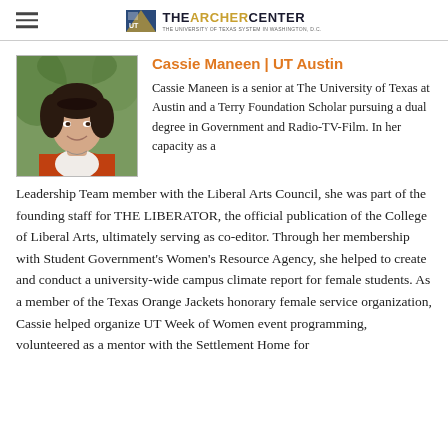THE ARCHER CENTER — THE UNIVERSITY OF TEXAS SYSTEM IN WASHINGTON, D.C.
[Figure (photo): Headshot photo of Cassie Maneen, a young woman smiling, wearing a red/orange cardigan over a white top, with trees and foliage in background.]
Cassie Maneen | UT Austin
Cassie Maneen is a senior at The University of Texas at Austin and a Terry Foundation Scholar pursuing a dual degree in Government and Radio-TV-Film. In her capacity as a Leadership Team member with the Liberal Arts Council, she was part of the founding staff for THE LIBERATOR, the official publication of the College of Liberal Arts, ultimately serving as co-editor. Through her membership with Student Government's Women's Resource Agency, she helped to create and conduct a university-wide campus climate report for female students. As a member of the Texas Orange Jackets honorary female service organization, Cassie helped organize UT Week of Women event programming, volunteered as a mentor with the Settlement Home for